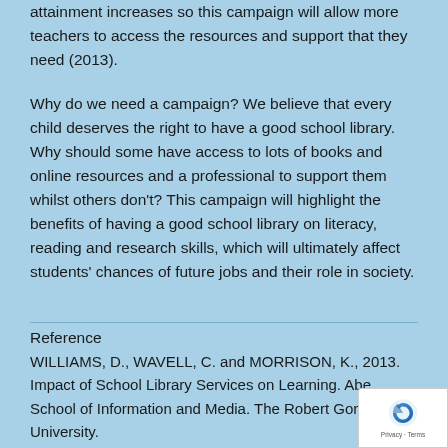attainment increases so this campaign will allow more teachers to access the resources and support that they need (2013).
Why do we need a campaign? We believe that every child deserves the right to have a good school library. Why should some have access to lots of books and online resources and a professional to support them whilst others don't? This campaign will highlight the benefits of having a good school library on literacy, reading and research skills, which will ultimately affect students' chances of future jobs and their role in society.
Reference
WILLIAMS, D., WAVELL, C. and MORRISON, K., 2013. Impact of School Library Services on Learning. Aberdeen School of Information and Media. The Robert Gordon University.
[Figure (logo): reCAPTCHA badge with blue swirl logo and Privacy - Terms text]